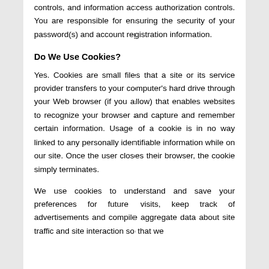controls, and information access authorization controls. You are responsible for ensuring the security of your password(s) and account registration information.
Do We Use Cookies?
Yes. Cookies are small files that a site or its service provider transfers to your computer's hard drive through your Web browser (if you allow) that enables websites to recognize your browser and capture and remember certain information. Usage of a cookie is in no way linked to any personally identifiable information while on our site. Once the user closes their browser, the cookie simply terminates.
We use cookies to understand and save your preferences for future visits, keep track of advertisements and compile aggregate data about site traffic and site interaction so that we